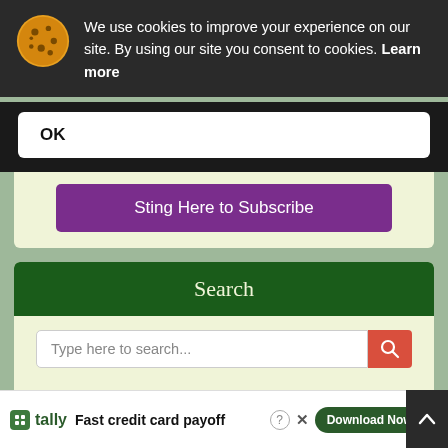We use cookies to improve your experience on our site. By using our site you consent to cookies. Learn more
OK
Sting Here to Subscribe
Search
Type here to search...
Sort by
Close X
tally  Fast credit card payoff  Download Now →